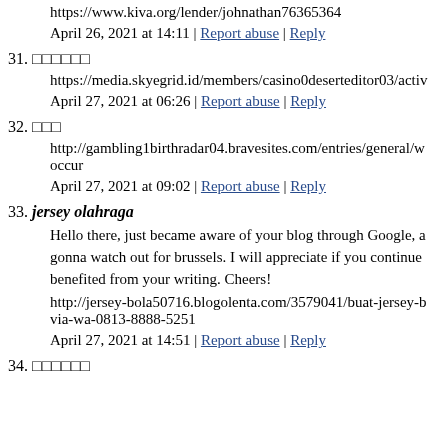https://www.kiva.org/lender/johnathan76365364
April 26, 2021 at 14:11 | Report abuse | Reply
31. [unicode squares]
https://media.skyegrid.id/members/casino0deserteditor03/activ
April 27, 2021 at 06:26 | Report abuse | Reply
32. [unicode squares]
http://gambling1birthradar04.bravesites.com/entries/general/w occur
April 27, 2021 at 09:02 | Report abuse | Reply
33. jersey olahraga
Hello there, just became aware of your blog through Google, a gonna watch out for brussels. I will appreciate if you continue benefited from your writing. Cheers!
http://jersey-bola50716.blogolenta.com/3579041/buat-jersey-b via-wa-0813-8888-5251
April 27, 2021 at 14:51 | Report abuse | Reply
34. [unicode squares]